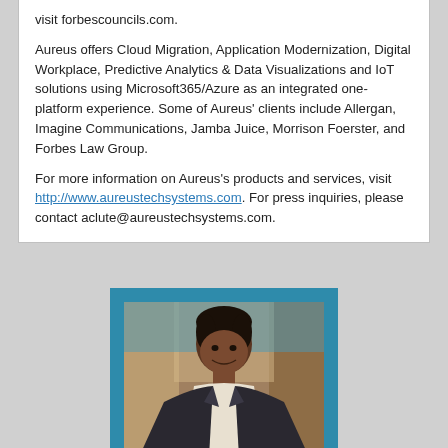visit forbescouncils.com.

Aureus offers Cloud Migration, Application Modernization, Digital Workplace, Predictive Analytics & Data Visualizations and IoT solutions using Microsoft365/Azure as an integrated one-platform experience. Some of Aureus' clients include Allergan, Imagine Communications, Jamba Juice, Morrison Foerster, and Forbes Law Group.

For more information on Aureus's products and services, visit http://www.aureustechsystems.com. For press inquiries, please contact aclute@aureustechsystems.com.
[Figure (photo): Professional headshot photo of a man in a dark suit with a blue background, set in a teal/blue framed card.]